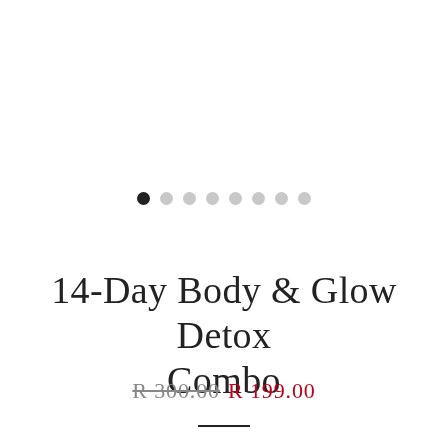[Figure (other): Carousel pagination dots: one filled black dot followed by seven light gray dots]
14-Day Body & Glow Detox Combo
R 300.00  R 199.00